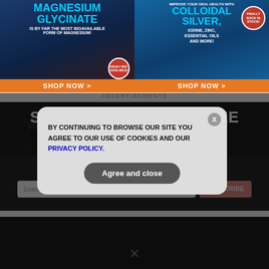[Figure (infographic): Two advertisement banners side by side: left ad for Magnesium Glycinate supplement with 'SHOP NOW' button, right ad for Colloidal Silver oral health product with 'SHOP NOW' button and 'FINALLY BACK IN STOCK!' badge]
ADVERTISEMENTS
SUBSCRIBE TO OUR FREE EMAIL NEWSLETTER
BY CONTINUING TO BROWSE OUR SITE YOU AGREE TO OUR USE OF COOKIES AND OUR PRIVACY POLICY.
Agree and close
GET THE WORLD'S BEST INDEPENDENT MEDIA NEWSLETTER DELIVERED STRAIGHT TO YOUR INBOX.
Enter Your Email Address
SUBSCRIBE